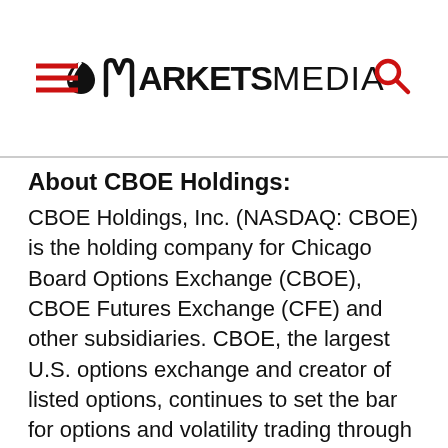MARKETS MEDIA
About CBOE Holdings:
CBOE Holdings, Inc. (NASDAQ: CBOE) is the holding company for Chicago Board Options Exchange (CBOE), CBOE Futures Exchange (CFE) and other subsidiaries. CBOE, the largest U.S. options exchange and creator of listed options, continues to set the bar for options and volatility trading through product innovation, trading technology and investor education. CBOE Holdings offers equity, index and ETF options including proprietary